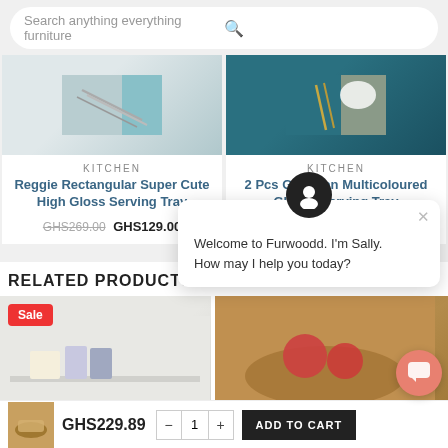Search anything everything furniture
[Figure (photo): Product image of Reggie Rectangular Super Cute High Gloss Serving Tray - cutlery on marble/teal background]
KITCHEN
Reggie Rectangular Super Cute High Gloss Serving Tray
GHS269.00  GHS129.00
[Figure (photo): Product image of 2 Pcs Grayman Multicoloured Glossy Serving Tray - gold cutlery on teal/grey background]
KITCHEN
2 Pcs Grayman Multicoloured Glossy Serving Tray
GHS299.00  GHS99.00
RELATED PRODUCTS
[Figure (photo): Related product image - white shelf with items, Sale badge]
[Figure (photo): Related product image - wooden tray with food items]
Welcome to Furwoodd. I'm Sally. How may I help you today?
GHS229.89
1
ADD TO CART